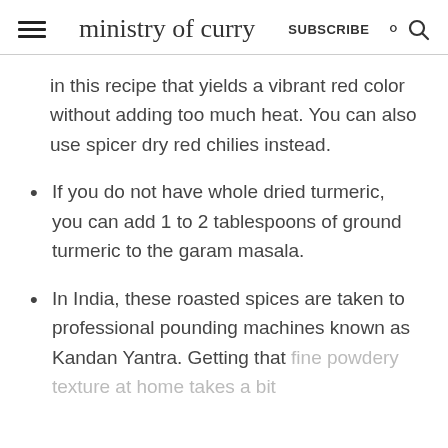ministry of curry   SUBSCRIBE
in this recipe that yields a vibrant red color without adding too much heat. You can also use spicer dry red chilies instead.
If you do not have whole dried turmeric, you can add 1 to 2 tablespoons of ground turmeric to the garam masala.
In India, these roasted spices are taken to professional pounding machines known as Kandan Yantra. Getting that fine powdery texture at home takes a bit